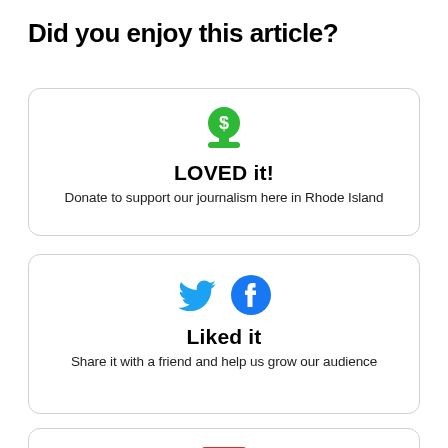Did you enjoy this article?
LOVED it!
Donate to support our journalism here in Rhode Island
Liked it
Share it with a friend and help us grow our audience
[Figure (illustration): Red envelope icon at bottom of page]